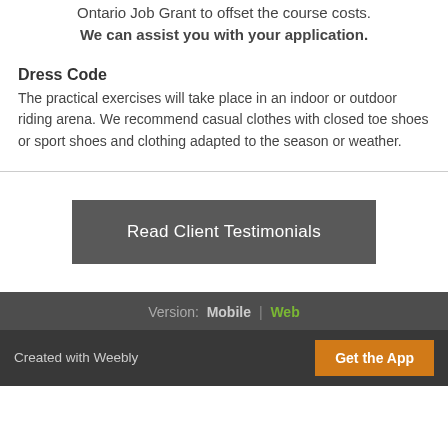Ontario Job Grant to offset the course costs. We can assist you with your application.
Dress Code
The practical exercises will take place in an indoor or outdoor riding arena. We recommend casual clothes with closed toe shoes or sport shoes and clothing adapted to the season or weather.
[Figure (other): Dark grey button with text 'Read Client Testimonials']
Version: Mobile | Web
Created with Weebly  Get the App